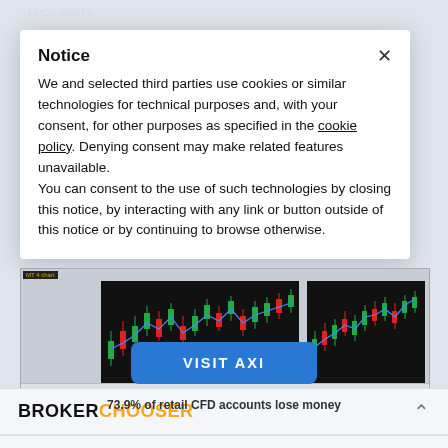[Figure (screenshot): Background of a financial broker review website with price alerts text and search function feedback, partially visible behind a cookie consent modal overlay]
Notice
We and selected third parties use cookies or similar technologies for technical purposes and, with your consent, for other purposes as specified in the cookie policy. Denying consent may make related features unavailable.
You can consent to the use of such technologies by closing this notice, by interacting with any link or button outside of this notice or by continuing to browse otherwise.
[Figure (screenshot): Trading platform screenshot showing two candlestick charts with green and red candles on dark background, with a news/events panel below]
[Figure (logo): BrokerChooser logo — BROKER in black bold, CHOOSER in orange bold]
VISIT AXI
73.9% of retail CFD accounts lose money